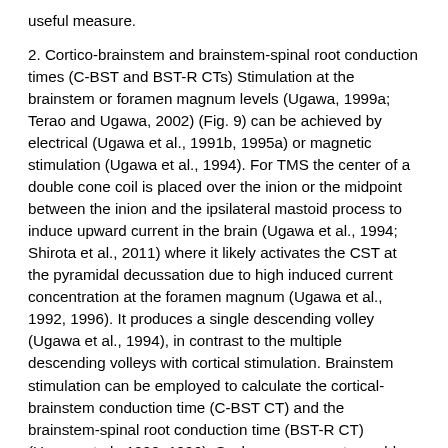useful measure.
2. Cortico-brainstem and brainstem-spinal root conduction times (C-BST and BST-R CTs) Stimulation at the brainstem or foramen magnum levels (Ugawa, 1999a; Terao and Ugawa, 2002) (Fig. 9) can be achieved by electrical (Ugawa et al., 1991b, 1995a) or magnetic stimulation (Ugawa et al., 1994). For TMS the center of a double cone coil is placed over the inion or the midpoint between the inion and the ipsilateral mastoid process to induce upward current in the brain (Ugawa et al., 1994; Shirota et al., 2011) where it likely activates the CST at the pyramidal decussation due to high induced current concentration at the foramen magnum (Ugawa et al., 1992, 1996). It produces a single descending volley (Ugawa et al., 1994), in contrast to the multiple descending volleys with cortical stimulation. Brainstem stimulation can be employed to calculate the cortical-brainstem conduction time (C-BST CT) and the brainstem-spinal root conduction time (BST-R CT) (Ugawa et al., 1992, 1996). Such measurements enable localization of a CST lesion above or below the pyramidal decussation. Brainstem